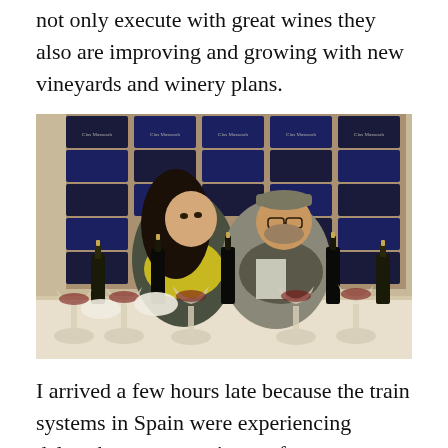not only execute with great wines they also are improving and growing with new vineyards and winery plans.
[Figure (photo): Two people standing behind a table lined with wine bottles and wine glasses, in front of stacked blue and black crates labeled 'Clos Massorah'. The woman on the left has long dark hair and wears a yellow top with a dark jacket. The man on the right wears glasses, a cap, and a vest.]
I arrived a few hours late because the train systems in Spain were experiencing delays between provinces of